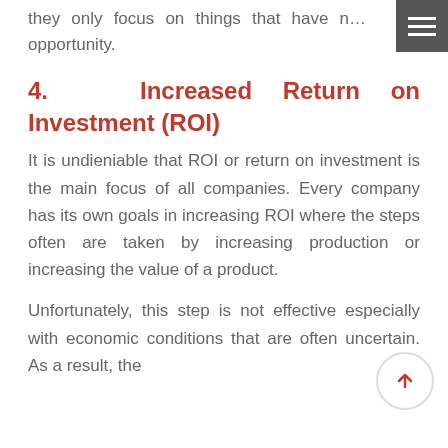they only focus on things that have n… opportunity.
4. Increased Return on Investment (ROI)
It is undieniable that ROI or return on investment is the main focus of all companies. Every company has its own goals in increasing ROI where the steps often are taken by increasing production or increasing the value of a product.
Unfortunately, this step is not effective especially with economic conditions that are often uncertain. As a result, the